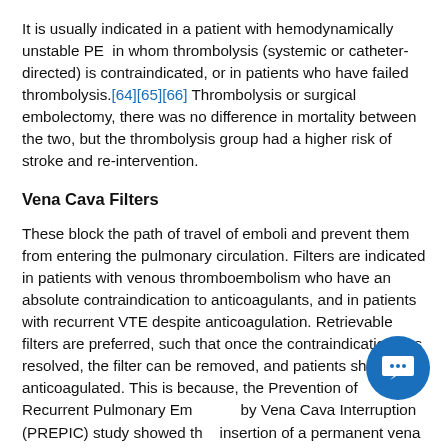It is usually indicated in a patient with hemodynamically unstable PE in whom thrombolysis (systemic or catheter-directed) is contraindicated, or in patients who have failed thrombolysis.[64][65][66] Thrombolysis or surgical embolectomy, there was no difference in mortality between the two, but the thrombolysis group had a higher risk of stroke and re-intervention.
Vena Cava Filters
These block the path of travel of emboli and prevent them from entering the pulmonary circulation. Filters are indicated in patients with venous thromboembolism who have an absolute contraindication to anticoagulants, and in patients with recurrent VTE despite anticoagulation. Retrievable filters are preferred, such that once the contraindication has resolved, the filter can be removed, and patients should be anticoagulated. This is because, the Prevention of Recurrent Pulmonary Embolism by Vena Cava Interruption (PREPIC) study showed that insertion of a permanent vena cava filter was associated with a significant reduction in the risk of recurrent PE and a